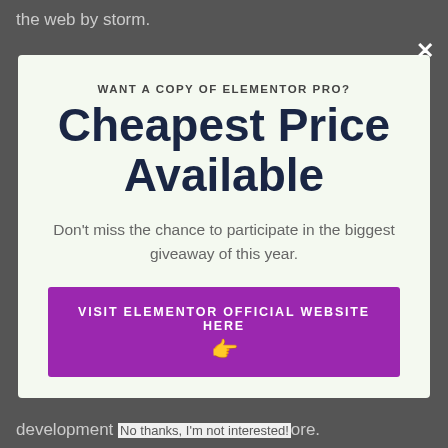the web by storm.
WANT A COPY OF ELEMENTOR PRO?
Cheapest Price Available
Don't miss the chance to participate in the biggest giveaway of this year.
VISIT ELEMENTOR OFFICIAL WEBSITE HERE 👈
development No thanks, I'm not interested! ore.